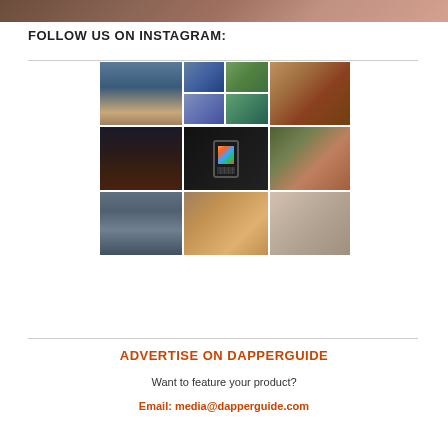[Figure (photo): Partial top image strip showing a photo]
FOLLOW US ON INSTAGRAM:
[Figure (photo): Instagram grid collage of 9 photos: building exterior, event/flag photos, NYC Agenda event poster, dark building at night, BlackBerry Passport phone, restaurant/diner interior, city street scene, food bowl with meat and egg, clothing rack with shirts]
ADVERTISE ON DAPPERGUIDE
Want to feature your product?
Email: media@dapperguide.com